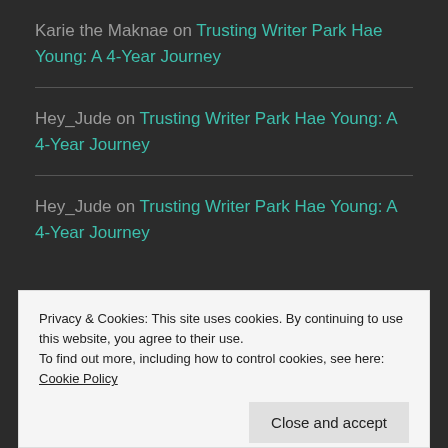Karie the Maknae on Trusting Writer Park Hae Young: A 4-Year Journey
Hey_Jude on Trusting Writer Park Hae Young: A 4-Year Journey
Hey_Jude on Trusting Writer Park Hae Young: A 4-Year Journey
Privacy & Cookies: This site uses cookies. By continuing to use this website, you agree to their use. To find out more, including how to control cookies, see here: Cookie Policy
Close and accept